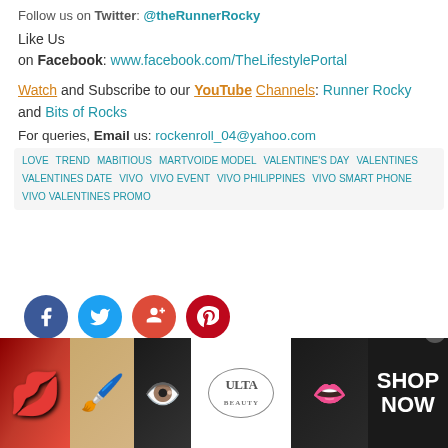Follow us on Twitter: @theRunnerRocky
Like Us on Facebook: www.facebook.com/TheLifestylePortal
Watch and Subscribe to our YouTube Channels: Runner Rocky and Bits of Rocks
For queries, Email us: rockenroll_04@yahoo.com
LOVE TREND MABITIOUS MARTVOIDE MODEL VALENTINE'S DAY VALENTINES VALENTINES DATE VIVO VIVO EVENT VIVO PHILIPPINES VIVO SMART PHONE VIVO VALENTINES PROMO
[Figure (other): Social media share icons: Facebook (blue circle), Twitter (blue circle), Google+ (red circle), Pinterest (red circle)]
Next
Surprise Your Love with MyDiamond Brilliant Diamond Gifts
[Figure (other): Advertisement banner for ULTA Beauty showing makeup images with SHOP NOW text]